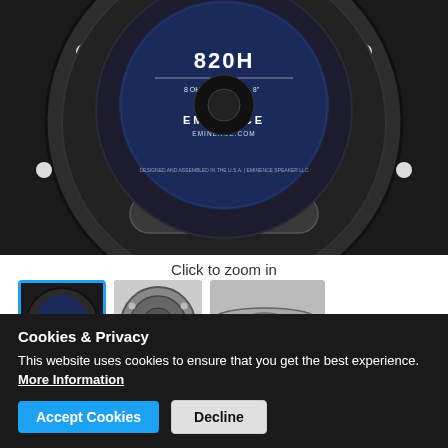[Figure (photo): Back view of an Eminence 820H speaker, 8 ohm 30 watts, showing the dark circular frame and blue label in center with Eminence branding]
Click to zoom in
[Figure (photo): Three thumbnail views of the Eminence 820H speaker: back view (selected, highlighted in blue), front view, and side/profile view]
Cookies & Privacy
This website uses cookies to ensure that you get the best experience. More Information
Accept Cookies
Decline